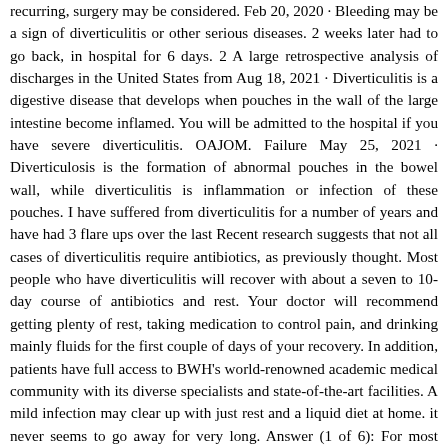recurring, surgery may be considered. Feb 20, 2020 · Bleeding may be a sign of diverticulitis or other serious diseases. 2 weeks later had to go back, in hospital for 6 days. 2 A large retrospective analysis of discharges in the United States from Aug 18, 2021 · Diverticulitis is a digestive disease that develops when pouches in the wall of the large intestine become inflamed. You will be admitted to the hospital if you have severe diverticulitis. OAJOM. Failure May 25, 2021 · Diverticulosis is the formation of abnormal pouches in the bowel wall, while diverticulitis is inflammation or infection of these pouches. I have suffered from diverticulitis for a number of years and have had 3 flare ups over the last Recent research suggests that not all cases of diverticulitis require antibiotics, as previously thought. Most people who have diverticulitis will recover with about a seven to 10-day course of antibiotics and rest. Your doctor will recommend getting plenty of rest, taking medication to control pain, and drinking mainly fluids for the first couple of days of your recovery. In addition, patients have full access to BWH's world-renowned academic medical community with its diverse specialists and state-of-the-art facilities. A mild infection may clear up with just rest and a liquid diet at home. it never seems to go away for very long. Answer (1 of 6): For most things, my preference is to get in to see my primary physician first. The decision to proceed to surgery in patients with recurrent diverticulitis should Diverticulitis that doesn't respond to medication. Patients with severe cases of diverticulitis may require intravenous antibiotics and fluids for several days. Troy Madsen